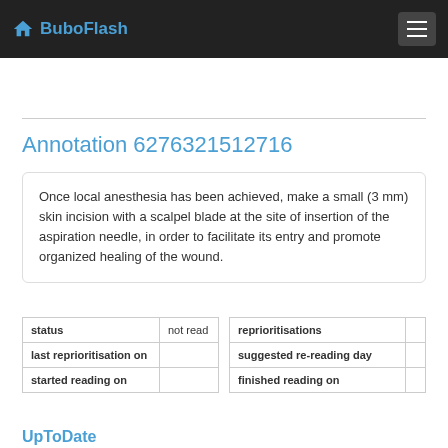BuboFlash
Annotation 6276321512716
Once local anesthesia has been achieved, make a small (3 mm) skin incision with a scalpel blade at the site of insertion of the aspiration needle, in order to facilitate its entry and promote organized healing of the wound.
| status | not read | reprioritisations |  |
| --- | --- | --- | --- |
| last reprioritisation on |  | suggested re-reading day |  |
| started reading on |  | finished reading on |  |
UpToDate